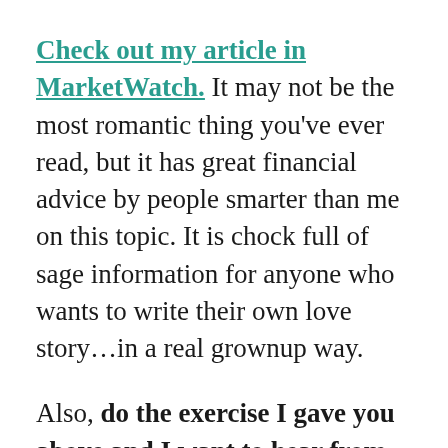Check out my article in MarketWatch. It may not be the most romantic thing you've ever read, but it has great financial advice by people smarter than me on this topic. It is chock full of sage information for anyone who wants to write their own love story…in a real grownup way.
Also, do the exercise I gave you above and I want to hear from you! Write me a note and tell me what came up for you and if you got any new information that